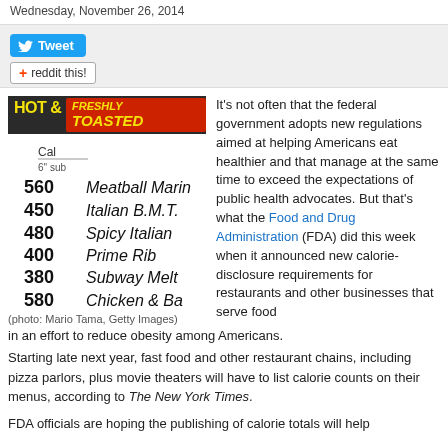Wednesday, November 26, 2014
[Figure (other): Tweet button and reddit this! social sharing buttons on a grey background bar]
[Figure (photo): Photo of a Subway restaurant menu board showing calorie counts: Meatball Marin 560 cal, Italian B.M.T. 450 cal, Spicy Italian 480 cal, Prime Rib 400 cal, Subway Melt 380 cal, Chicken & Ba 580 cal. HOT & FRESHLY TOASTED banner at top.]
(photo: Mario Tama, Getty Images)
It’s not often that the federal government adopts new regulations aimed at helping Americans eat healthier and that manage at the same time to exceed the expectations of public health advocates. But that’s what the Food and Drug Administration (FDA) did this week when it announced new calorie-disclosure requirements for restaurants and other businesses that serve food in an effort to reduce obesity among Americans.
Starting late next year, fast food and other restaurant chains, including pizza parlors, plus movie theaters will have to list calorie counts on their menus, according to The New York Times.
FDA officials are hoping the publishing of calorie totals will help